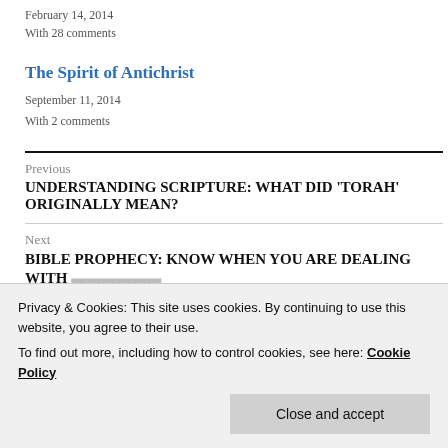February 14, 2014
With 28 comments
The Spirit of Antichrist
September 11, 2014
With 2 comments
Previous
UNDERSTANDING SCRIPTURE: WHAT DID ‘TORAH’ ORIGINALLY MEAN?
Next
BIBLE PROPHECY: KNOW WHEN YOU ARE DEALING WITH...
Privacy & Cookies: This site uses cookies. By continuing to use this website, you agree to their use.
To find out more, including how to control cookies, see here: Cookie Policy
Close and accept